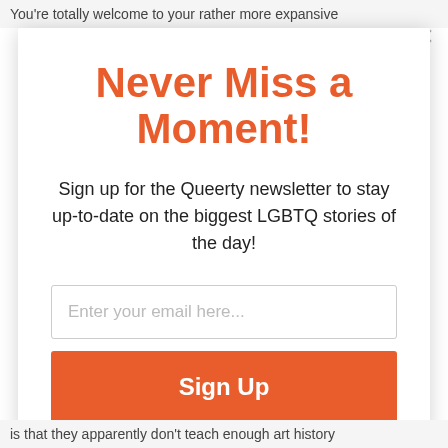You're totally welcome to your rather more expansive
Never Miss a Moment!
Sign up for the Queerty newsletter to stay up-to-date on the biggest LGBTQ stories of the day!
Enter your email here...
Sign Up
is that they apparently don't teach enough art history